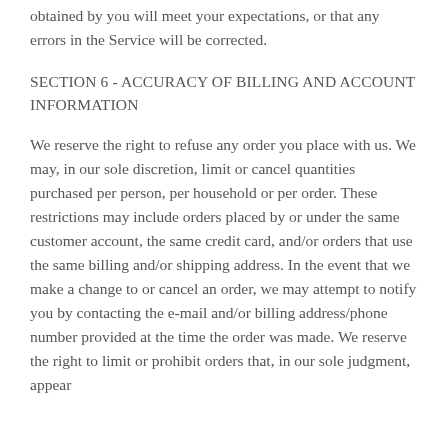obtained by you will meet your expectations, or that any errors in the Service will be corrected.
SECTION 6 - ACCURACY OF BILLING AND ACCOUNT INFORMATION
We reserve the right to refuse any order you place with us. We may, in our sole discretion, limit or cancel quantities purchased per person, per household or per order. These restrictions may include orders placed by or under the same customer account, the same credit card, and/or orders that use the same billing and/or shipping address. In the event that we make a change to or cancel an order, we may attempt to notify you by contacting the e-mail and/or billing address/phone number provided at the time the order was made. We reserve the right to limit or prohibit orders that, in our sole judgment, appear